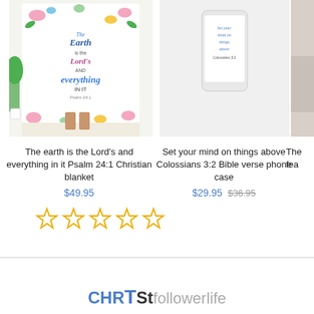[Figure (photo): Floral Christian blanket with 'The earth is the Lord's and everything in it Psalm 24:1' text on white background]
The earth is the Lord's and everything in it Psalm 24:1 Christian blanket
$49.95
[Figure (photo): Phone case with 'Set your mind on things above Colossians 3:2 Bible verse' text]
Set your mind on things above Colossians 3:2 Bible verse phone case
$29.95 $36.95
[Figure (photo): Partial product image on right edge, cut off]
The fea
[Figure (other): Five empty star rating icons in yellow/gold outline]
CHRTSTfollowerlife